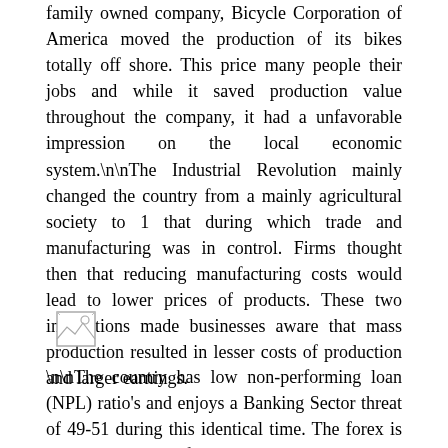family owned company, Bicycle Corporation of America moved the production of its bikes totally off shore. This price many people their jobs and while it saved production value throughout the company, it had a unfavorable impression on the local economic system.\n\nThe Industrial Revolution mainly changed the country from a mainly agricultural society to 1 that during which trade and manufacturing was in control. Firms thought then that reducing manufacturing costs would lead to lower prices of products. These two innovations made businesses aware that mass production resulted in lesser costs of production and larger earnings.
[Figure (illustration): Small broken image placeholder icon]
\n\nThe country has low non-performing loan (NPL) ratio's and enjoys a Banking Sector threat of 49-51 during this identical time. The forex is trending upward from 44-47 in the last 12 months as a result of economic reforms following India's fiscal and trade deficits as well as high inflation.\n\nFinally, increased gas costs shifted client demand away from the more profitable automobile traces -SUV's and light-weight vehicles –